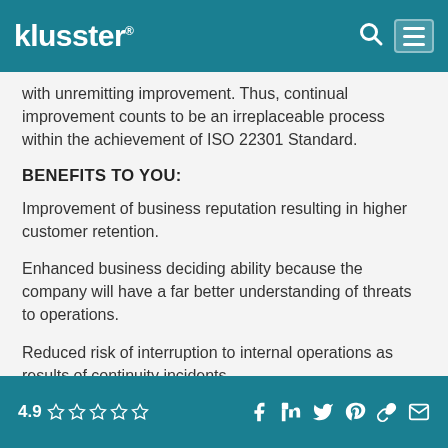klusster®
with unremitting improvement. Thus, continual improvement counts to be an irreplaceable process within the achievement of ISO 22301 Standard.
BENEFITS TO YOU:
Improvement of business reputation resulting in higher customer retention.
Enhanced business deciding ability because the company will have a far better understanding of threats to operations.
Reduced risk of interruption to internal operations as results of continuity incidents.
4.9 ☆☆☆☆☆